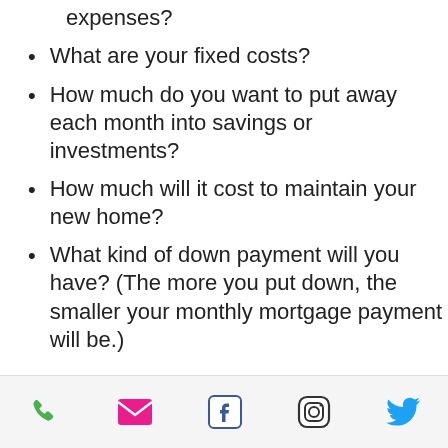What are your basic living expenses?
What are your fixed costs?
How much do you want to put away each month into savings or investments?
How much will it cost to maintain your new home?
What kind of down payment will you have? (The more you put down, the smaller your monthly mortgage payment will be.)
Now you can factor a mortgage into all of the above, and see how much
[phone] [email] [facebook] [instagram] [twitter]